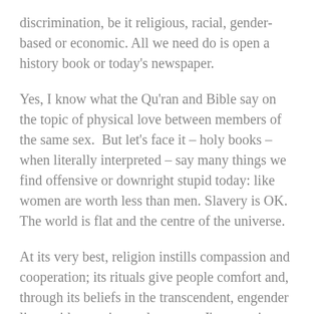discrimination, be it religious, racial, gender-based or economic. All we need do is open a history book or today's newspaper.
Yes, I know what the Qu'ran and Bible say on the topic of physical love between members of the same sex.  But let's face it – holy books – when literally interpreted – say many things we find offensive or downright stupid today: like women are worth less than men. Slavery is OK. The world is flat and the centre of the universe.
At its very best, religion instills compassion and cooperation; its rituals give people comfort and, through its beliefs in the transcendent, engender lives with meaning and purpose. I'm guessing, although I'm not an anthropologist or theologian